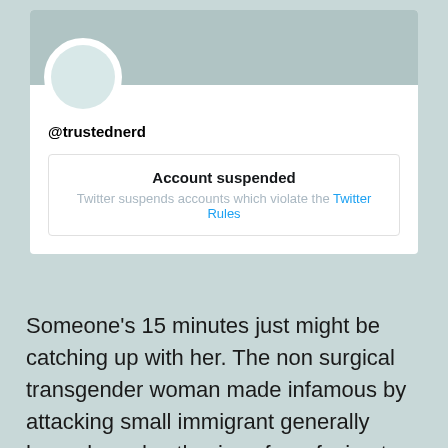[Figure (screenshot): Twitter profile screenshot showing a suspended account with username @trustednerd. The profile has a gray banner, circular avatar placeholder, and a suspended account notice.]
@trustednerd
Account suspended
Twitter suspends accounts which violate the Twitter Rules
Someone’s 15 minutes just might be catching up with her. The non surgical transgender woman made infamous by attacking small immigrant generally home based esthecians for refusing to wax her male genitally finally was shut down by twitter. Her trustednerd account has been suspended. It’s a weird